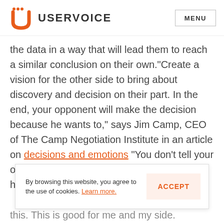USERVOICE  MENU
the data in a way that will lead them to reach a similar conclusion on their own.“Create a vision for the other side to bring about discovery and decision on their part. In the end, your opponent will make the decision because he wants to,” says Jim Camp, CEO of The Camp Negotiation Institute in an article on decisions and emotions “You don’t tell your opponent what to think or what’s best. You help them discover for
By browsing this website, you agree to the use of cookies. Learn more.  ACCEPT
this. This is good for me and my side.